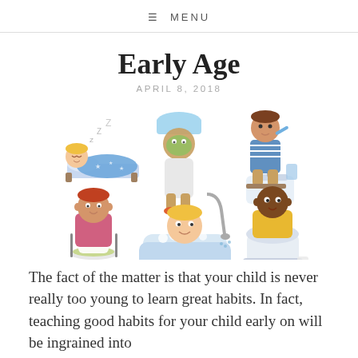≡ MENU
Early Age
APRIL 8, 2018
[Figure (illustration): Six cartoon children performing daily habits: sleeping in bed, standing wrapped in towel with face mask, brushing teeth at sink, sitting at table with food on plate, taking a bath in a tub, and sitting on toilet.]
The fact of the matter is that your child is never really too young to learn great habits. In fact, teaching good habits for your child early on will be ingrained into